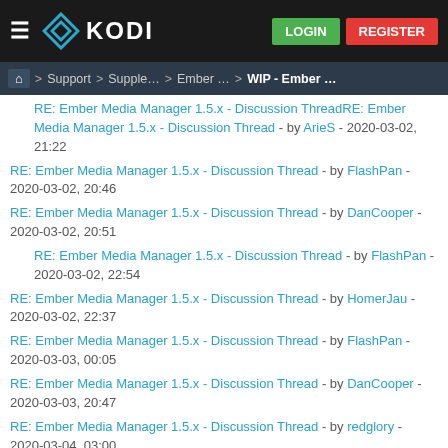KODI — LOGIN | REGISTER
Home > Support > Supple... > Ember... > WIP - Ember...
RE: Ember Media Manager 1.5.x - Discussion Thread - by ArieS - 2020-03-02, 21:22
RE: Ember Media Manager 1.5.x - Discussion Thread - by FlashPan - 2020-03-02, 20:46
RE: Ember Media Manager 1.5.x - Discussion Thread - by DanCooper - 2020-03-02, 20:51
RE: Ember Media Manager 1.5.x - Discussion Thread - by FlashPan - 2020-03-02, 22:54
RE: Ember Media Manager 1.5.x - Discussion Thread - by HomerJau - 2020-03-02, 22:37
RE: Ember Media Manager 1.5.x - Discussion Thread - by FlashPan - 2020-03-03, 00:05
RE: Ember Media Manager 1.5.x - Discussion Thread - by DanCooper - 2020-03-03, 20:47
RE: Ember Media Manager 1.5.x - Discussion Thread - by redglory - 2020-03-04, 03:00
RE: Ember Media Manager 1.5.x - Discussion Thread - by redglory - 2021-03-22, 12:08
RE: Ember Media Manager 1.5.x - Discussion Thread - by ss4johnny - 2020-03-04, 05:39